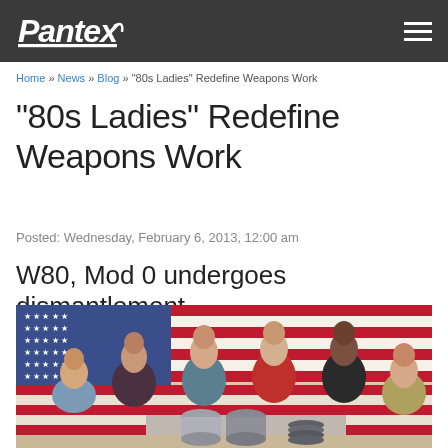Pantex
Home » News » Blog » "80s Ladies" Redefine Weapons Work
"80s Ladies" Redefine Weapons Work
Posted: Wednesday, February 6, 2013, 12:00 am
W80, Mod 0 undergoes dismantlement
[Figure (photo): Group photo of six women posing in front of a large American flag, some seated and some standing, with metallic cylindrical components on a table in front of them.]